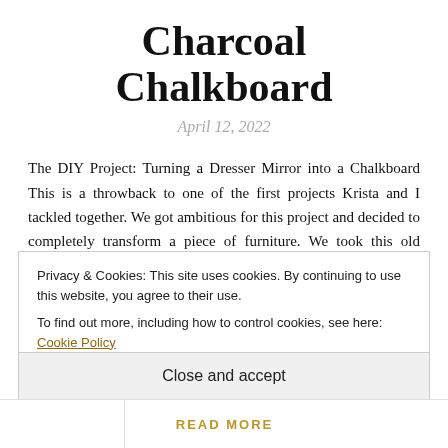Charcoal Chalkboard
April 12, 2022
The DIY Project: Turning a Dresser Mirror into a Chalkboard This is a throwback to one of the first projects Krista and I tackled together. We got ambitious for this project and decided to completely transform a piece of furniture. We took this old dresser mirror and made it into a chalkboard! Our working together actually started with furniture DIY projects, including this mirror turned chalkboard and this vintage table we transformed. Why I Love It We loved that this piece was solid wood and
Privacy & Cookies: This site uses cookies. By continuing to use this website, you agree to their use.
To find out more, including how to control cookies, see here: Cookie Policy
Close and accept
READ MORE